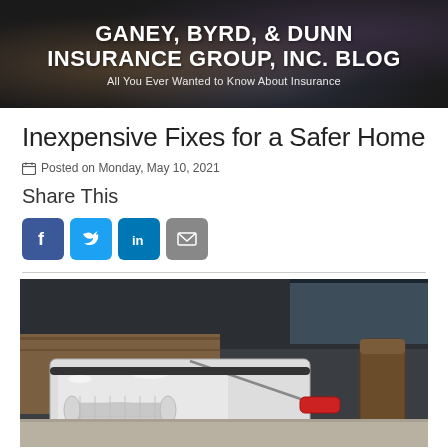GANEY, BYRD, & DUNN INSURANCE GROUP, INC. BLOG
All You Ever Wanted to Know About Insurance
Inexpensive Fixes for a Safer Home
Posted on Monday, May 10, 2021
Share This
[Figure (infographic): Social sharing icons: Facebook, Twitter, LinkedIn, Email]
[Figure (photo): Close-up photo of a paint roller in a white paint tray with a red-handled tool, home renovation scene]